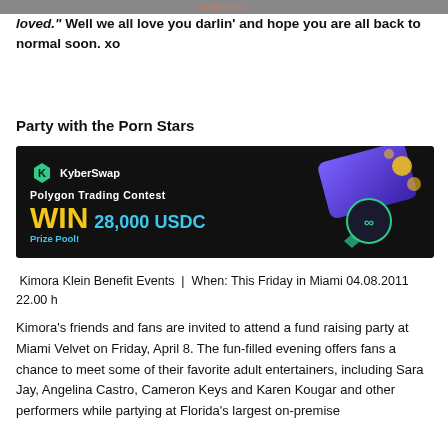CHANNEL
loved."  Well we all love you darlin' and hope you are all back to normal soon. xo
Party with the Porn Stars
[Figure (other): KyberSwap advertisement banner: Polygon Trading Contest WIN 28,000 USDC Prize Pool!]
Kimora Klein Benefit Events  |  When: This Friday in Miami 04.08.2011 22.00 h
Kimora's friends and fans are invited to attend a fund raising party at Miami Velvet on Friday, April 8. The fun-filled evening offers fans a chance to meet some of their favorite adult entertainers, including Sara Jay, Angelina Castro, Cameron Keys and Karen Kougar and other performers while partying at Florida's largest on-premise